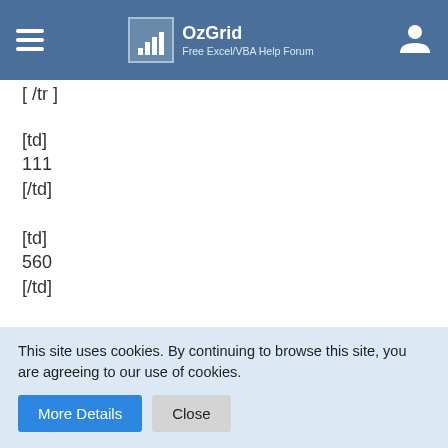OzGrid Free Excel/VBA Help Forum
[ /tr ]
[td]
111
[/td]
[td]
560
[/td]
[/tr]
[tr]
[td]
13
This site uses cookies. By continuing to browse this site, you are agreeing to our use of cookies.